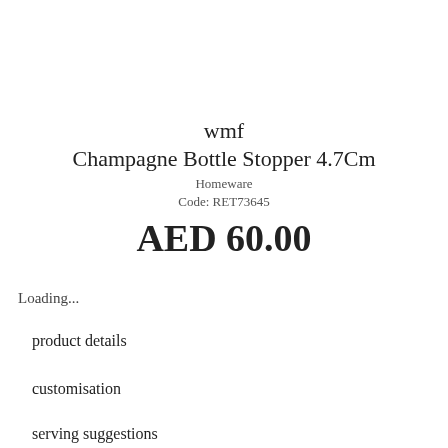wmf
Champagne Bottle Stopper 4.7Cm
Homeware
Code: RET73645
AED 60.00
Loading...
product details
customisation
serving suggestions